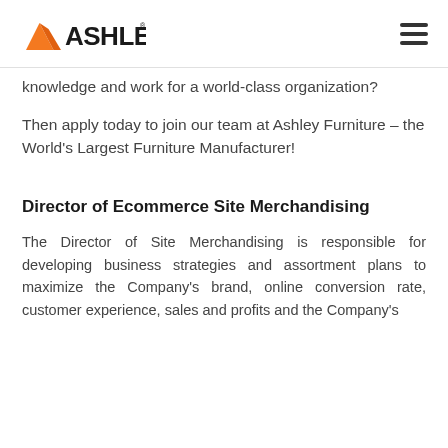Ashley Furniture logo and navigation menu
knowledge and work for a world-class organization?
Then apply today to join our team at Ashley Furniture – the World's Largest Furniture Manufacturer!
Director of Ecommerce Site Merchandising
The Director of Site Merchandising is responsible for developing business strategies and assortment plans to maximize the Company's brand, online conversion rate, customer experience, sales and profits and the Company's